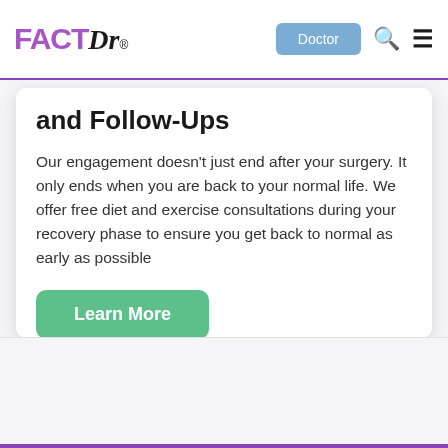FACTDr — Doctor | Search | Menu
and Follow-Ups
Our engagement doesn't just end after your surgery. It only ends when you are back to your normal life. We offer free diet and exercise consultations during your recovery phase to ensure you get back to normal as early as possible
Learn More